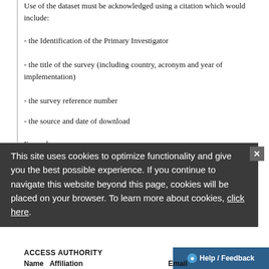Use of the dataset must be acknowledged using a citation which would include:
- the Identification of the Primary Investigator
- the title of the survey (including country, acronym and year of implementation)
- the survey reference number
- the source and date of download
Example:
Statistics Sierra Leone. Service Delivery Indicators
This site uses cookies to optimize functionality and give you the best possible experience. If you continue to navigate this website beyond this page, cookies will be placed on your browser. To learn more about cookies, click here.
ACCESS AUTHORITY
Name   Affiliation
Email